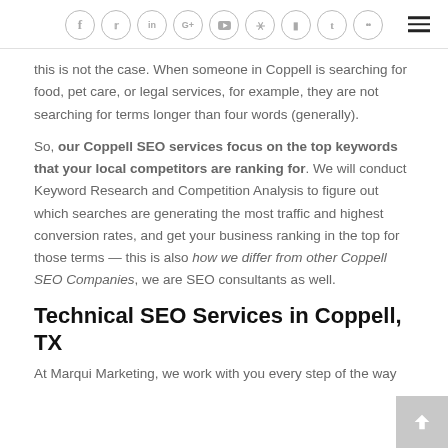Social media icons and navigation menu
this is not the case. When someone in Coppell is searching for food, pet care, or legal services, for example, they are not searching for terms longer than four words (generally).
So, our Coppell SEO services focus on the top keywords that your local competitors are ranking for. We will conduct Keyword Research and Competition Analysis to figure out which searches are generating the most traffic and highest conversion rates, and get your business ranking in the top for those terms — this is also how we differ from other Coppell SEO Companies, we are SEO consultants as well.
Technical SEO Services in Coppell, TX
At Marqui Marketing, we work with you every step of the way